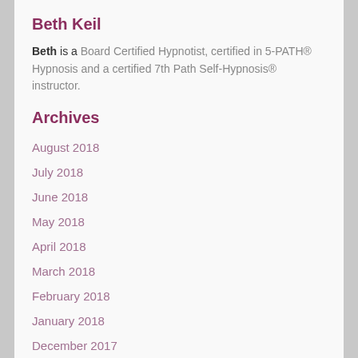Beth Keil
Beth is a Board Certified Hypnotist, certified in 5-PATH® Hypnosis and a certified 7th Path Self-Hypnosis® instructor.
Archives
August 2018
July 2018
June 2018
May 2018
April 2018
March 2018
February 2018
January 2018
December 2017
November 2017
October 2017
September 2017
August 2017
July 2017